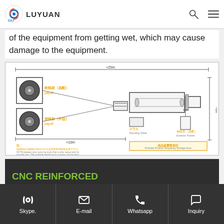LUYUAN ZJLY
of the equipment from getting wet, which may cause damage to the equipment.
[Figure (engineering-diagram): Schematic layout diagram of a steel wire/rebar processing line showing two large cable reels (payoff) connected via lines to a straightening/feeding unit, then to a processing machine and product collection area. Labels in Chinese and English indicate components: 收线架（选配）payoff, 放线架（外型）payoff, 储线架（选配）exterior frame, 折弯台 Bending table, 成品放置暂放区 Finished Product Temporary Storage Area. Dimension lines show ≈25m total length and ≈1m height.]
[Figure (screenshot): CNC REINFORCED BENDING HOOP MACHINE banner on dark background with green and white text, subtitle: intelligent cnc steel processing equipment]
Skype.  E-mail  Whatsapp  Inquiry